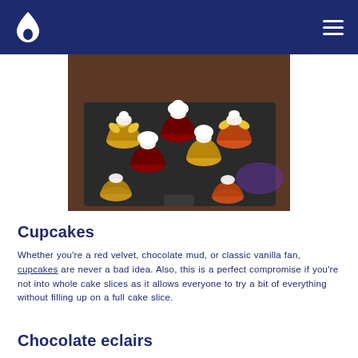[Figure (photo): Multiple small decorated cupcakes with white cream frosting and colorful (red, orange, yellow) flower-shaped bases arranged on a dark slate serving board, with a blurred background.]
Cupcakes
Whether you're a red velvet, chocolate mud, or classic vanilla fan, cupcakes are never a bad idea. Also, this is a perfect compromise if you're not into whole cake slices as it allows everyone to try a bit of everything without filling up on a full cake slice.
Chocolate eclairs